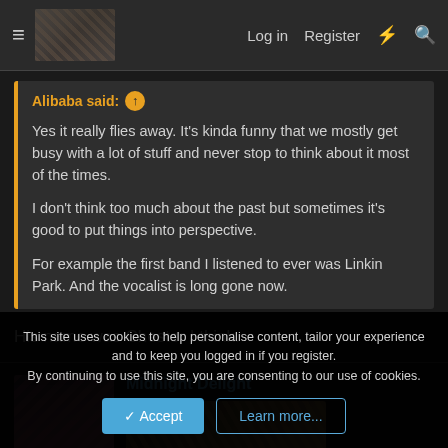≡  [site logo]  Log in  Register  ⚡  🔍
Alibaba said: ↑

Yes it really flies away. It's kinda funny that we mostly get busy with a lot of stuff and never stop to think about it most of the times.

I don't think too much about the past but sometimes it's good to put things into perspective.

For example the first band I listened to ever was Linkin Park. And the vocalist is long gone now.
His name was Chester I think.
Midnight Delight
This site uses cookies to help personalise content, tailor your experience and to keep you logged in if you register.
By continuing to use this site, you are consenting to our use of cookies.
Accept  Learn more...